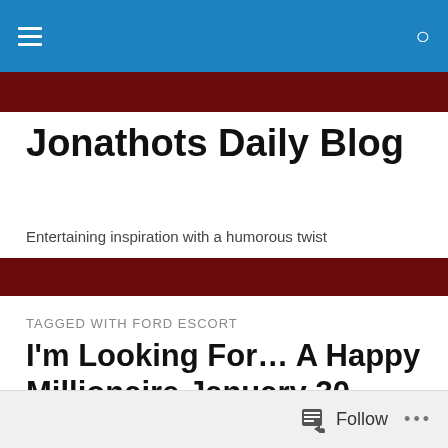Jonathots Daily Blog — navigation bar with hamburger menu and search icon
Jonathots Daily Blog
Entertaining inspiration with a humorous twist
TAGGED WITH FORD ESCORT
I'm Looking For… A Happy Millionaire January 30, 2013
(1,776)
[Figure (illustration): Blue illustrated image partially visible at bottom of page]
Follow  •••